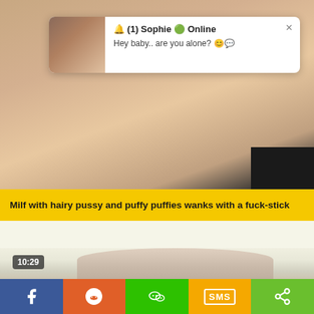[Figure (screenshot): Adult video thumbnail showing blurred/censored content]
🔔 (1) Sophie 🟢 Online
Hey baby.. are you alone? 😊💬
Milf with hairy pussy and puffy puffies wanks with a fuck-stick
10:29
[Figure (screenshot): Second adult video thumbnail showing blonde person]
f  reddit  WeChat  SMS  share